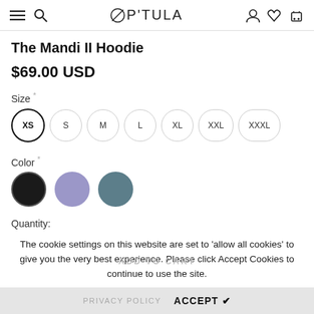OP'TULA — navigation header with hamburger, search, logo, account, wishlist, cart icons
The Mandi II Hoodie
$69.00 USD
Size *
XS  S  M  L  XL  XXL  XXXL
Color *
Color swatches: Black, Lavender, Slate
Quantity:
The cookie settings on this website are set to 'allow all cookies' to give you the very best experience. Please click Accept Cookies to continue to use the site.
ADD TO CART
PRIVACY POLICY   ACCEPT ✔